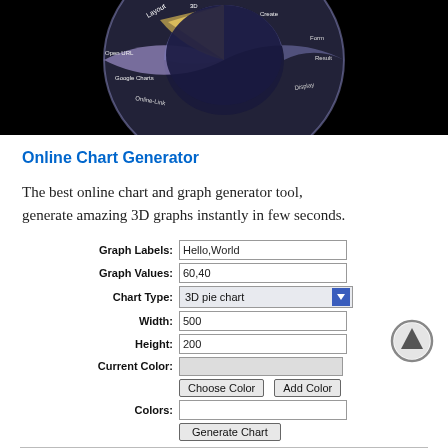[Figure (screenshot): Top portion of a 3D pie chart rendered in purple/blue tones on a black background, showing a radial chart with labels around it.]
Online Chart Generator
The best online chart and graph generator tool, generate amazing 3D graphs instantly in few seconds.
[Figure (screenshot): Web form UI with fields: Graph Labels (Hello,World), Graph Values (60,40), Chart Type (3D pie chart dropdown), Width (500), Height (200), Current Color (color swatch), Choose Color button, Add Color button, Colors field, Generate Chart button. An up-arrow circle button appears to the right.]
[Figure (screenshot): Bottom border of a white box, partially visible at the bottom of the page.]